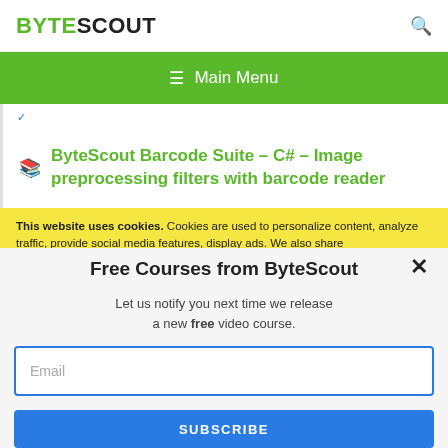BYTESCOUT
☰  Main Menu
ByteScout Barcode Suite – C# – Image preprocessing filters with barcode reader
This website uses cookies. Cookies are used to personalize content, analyze traffic, provide social media features, display ads. We also share
Free Courses from ByteScout
Let us notify you next time we release a new free video course.
Email
SUBSCRIBE